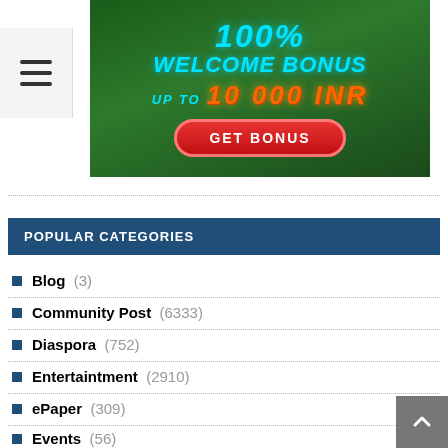[Figure (illustration): Sports betting welcome bonus banner with soccer ball background. Text reads '100% WELCOME BONUS UP TO 10 000 INR' with a red 'GET BONUS' button. Cyan and orange neon text on green grass background.]
POPULAR CATEGORIES
Blog  (3)
Community Post  (6333)
Diaspora  (752)
Entertaintment  (2910)
ePaper  (309)
Events  (56)
Horoscope  (115)